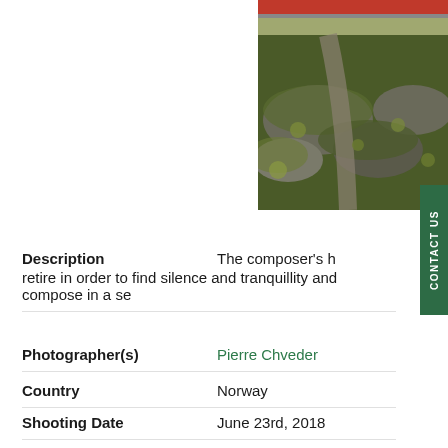[Figure (photo): Outdoor photo showing mossy rocks and a path with a red building visible at the top, taken in Norway]
CONTACT US
Description    The composer's h... retire in order to find silence and tranquillity and compose in a se...
Photographer(s)    Pierre Chveder
Country    Norway
Shooting Date    June 23rd, 2018
Theme    Cultural Tourism
Copyright    Pierre Chveder